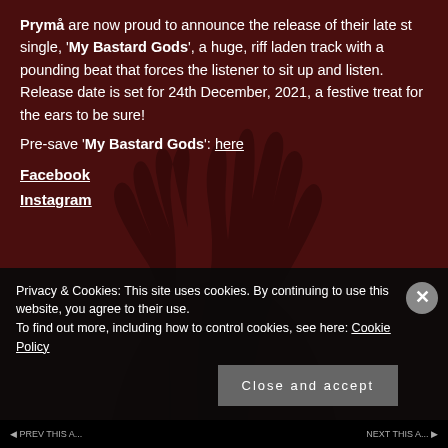Prymå are now proud to announce the release of their latest single, 'My Bastard Gods', a huge, riff laden track with a pounding beat that forces the listener to sit up and listen. Release date is set for 24th December, 2021, a festive treat for the ears to be sure!
Pre-save 'My Bastard Gods': here
Facebook
Instagram
Privacy & Cookies: This site uses cookies. By continuing to use this website, you agree to their use. To find out more, including how to control cookies, see here: Cookie Policy
Close and accept